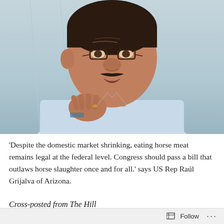[Figure (photo): A middle-aged Hispanic man with a dark mustache and glasses, wearing a light blue button-up shirt, gesturing with his right hand raised to his chest. Photo appears to be from a press or meeting setting with a light blueish-gray background.]
'Despite the domestic market shrinking, eating horse meat remains legal at the federal level. Congress should pass a bill that outlaws horse slaughter once and for all.' says US Rep Raúl Grijalva of Arizona.
Cross-posted from The Hill